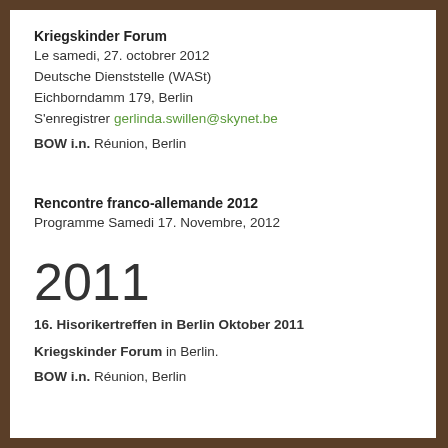Kriegskinder Forum
Le samedi, 27. octobrer 2012
Deutsche Dienststelle (WASt)
Eichborndamm 179, Berlin
S'enregistrer gerlinda.swillen@skynet.be
BOW i.n. Réunion, Berlin
Rencontre franco-allemande 2012
Programme Samedi 17. Novembre, 2012
2011
16. Hisorikertreffen in Berlin Oktober 2011
Kriegskinder Forum in Berlin.
BOW i.n. Réunion, Berlin